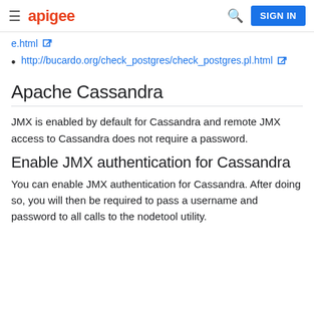apigee | SIGN IN
e.html [external link]
http://bucardo.org/check_postgres/check_postgres.pl.html [external link]
Apache Cassandra
JMX is enabled by default for Cassandra and remote JMX access to Cassandra does not require a password.
Enable JMX authentication for Cassandra
You can enable JMX authentication for Cassandra. After doing so, you will then be required to pass a username and password to all calls to the nodetool utility.